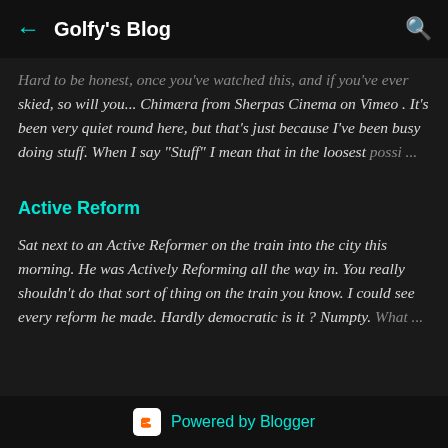Golfy's Blog
...Hard to be honest, once you've watched this, and if you've ever skied, so will you... Chimæra from Sherpas Cinema on Vimeo . It's been very quiet round here, but that's just because I've been busy doing stuff. When I say "Stuff" I mean that in the loosest possi ...
Active Reform
Sat next to an Active Reformer on the train into the city this morning. He was Actively Reforming all the way in. You really shouldn't do that sort of thing on the train you know. I could see every reform he made. Hardly democratic is it ? Numpty. What ...
Powered by Blogger